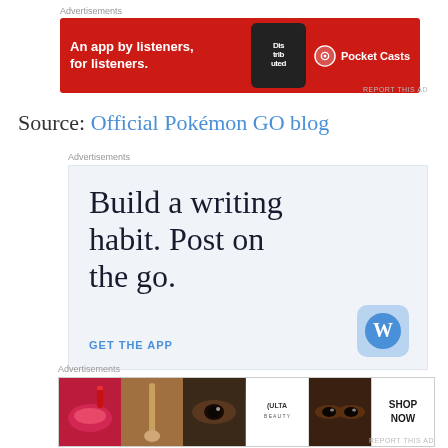[Figure (screenshot): Pocket Casts advertisement banner - red background with text 'An app by listeners, for listeners.' and Pocket Casts logo]
REPORT THIS AD
Source: Official Pokémon GO blog
[Figure (screenshot): WordPress app advertisement - light blue background with text 'Build a writing habit. Post on the go.' GET THE APP call to action and WordPress logo]
[Figure (screenshot): ULTA Beauty advertisement banner with beauty product images and SHOP NOW call to action]
REPORT THIS AD